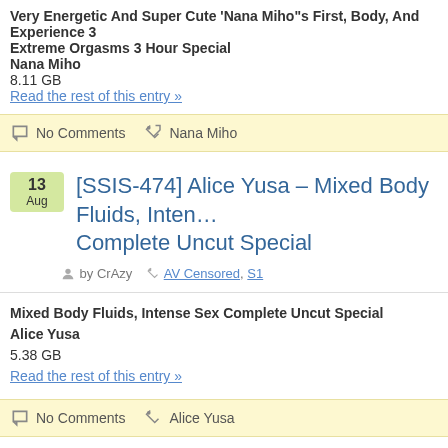Very Energetic And Super Cute 'Nana Miho"s First, Body, And Experience 3 Extreme Orgasms 3 Hour Special
Nana Miho
8.11 GB
Read the rest of this entry »
No Comments   Nana Miho
[SSIS-474] Alice Yusa – Mixed Body Fluids, Intense ... Complete Uncut Special
by CrAzy   AV Censored, S1
Mixed Body Fluids, Intense Sex Complete Uncut Special
Alice Yusa
5.38 GB
Read the rest of this entry »
No Comments   Alice Yusa
[SSIS-473] Unpai – Sex Symbol Unpai Eros Awake... Special Life's Greatest Incontinence Nonstop...